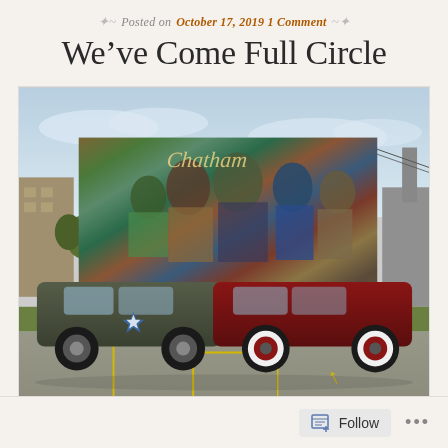Posted on October 17, 2019 1 Comment
We’ve Come Full Circle
[Figure (photo): Two vintage/antique cars parked in a parking lot in front of a large colorful mural painted on a building wall. The left car is olive/army green with a star emblem, and the right car is deep maroon/burgundy with white wall tires. The mural depicts historical figures including what appears to be a Civil War soldier and various other people.]
Follow